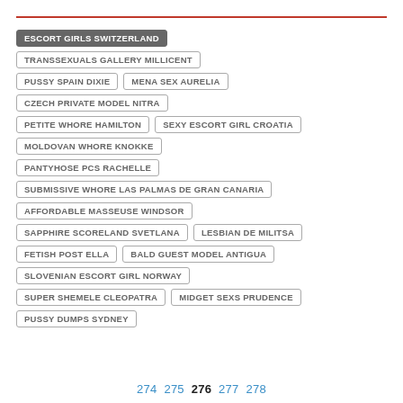ESCORT GIRLS SWITZERLAND
TRANSSEXUALS GALLERY MILLICENT
PUSSY SPAIN DIXIE
MENA SEX AURELIA
CZECH PRIVATE MODEL NITRA
PETITE WHORE HAMILTON
SEXY ESCORT GIRL CROATIA
MOLDOVAN WHORE KNOKKE
PANTYHOSE PCS RACHELLE
SUBMISSIVE WHORE LAS PALMAS DE GRAN CANARIA
AFFORDABLE MASSEUSE WINDSOR
SAPPHIRE SCORELAND SVETLANA
LESBIAN DE MILITSA
FETISH POST ELLA
BALD GUEST MODEL ANTIGUA
SLOVENIAN ESCORT GIRL NORWAY
SUPER SHEMELE CLEOPATRA
MIDGET SEXS PRUDENCE
PUSSY DUMPS SYDNEY
274 275 276 277 278